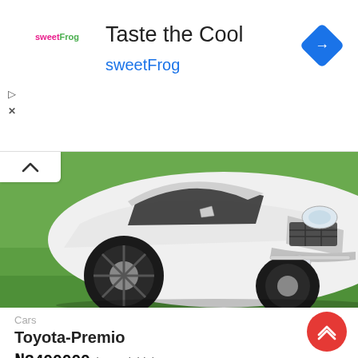[Figure (infographic): sweetFrog advertisement banner with logo, 'Taste the Cool' heading, 'sweetFrog' subtitle in teal, blue diamond navigation arrow icon on right, play and close icons on left]
[Figure (photo): White Toyota Premio sedan photographed from front-left angle, parked on green grass. Car has black alloy wheels, chrome front bumper guard, and headlights visible.]
Cars
Toyota-Premio
₦2400000 (Negotiable)